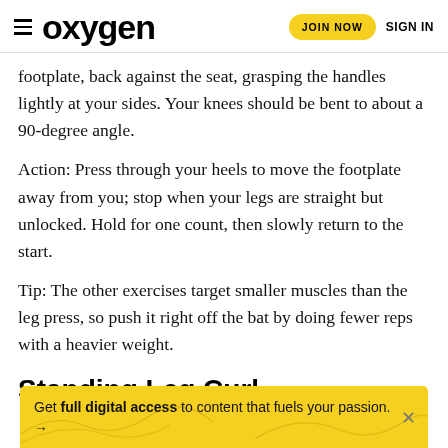oxygen | JOIN NOW | SIGN IN
footplate, back against the seat, grasping the handles lightly at your sides. Your knees should be bent to about a 90-degree angle.
Action: Press through your heels to move the footplate away from you; stop when your legs are straight but unlocked. Hold for one count, then slowly return to the start.
Tip: The other exercises target smaller muscles than the leg press, so push it right off the bat by doing fewer reps with a heavier weight.
Standing Leg Curl
[Figure (infographic): Yellow advertisement banner: Get full digital access to content that fuels your passion. With decorative curvy lines and arrow.]